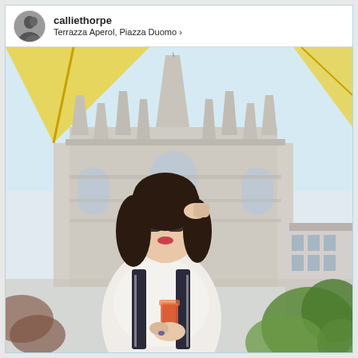calliethorpe
Terrazza Aperol, Piazza Duomo >
[Figure (photo): A woman wearing sunglasses and holding an orange cocktail stands in front of the Milan Cathedral (Duomo di Milano) on a sunny day, photographed from a terrace with yellow umbrellas visible. The Gothic cathedral's ornate white marble facade and spires are prominent in the background. Green plants are visible in the lower right. This appears to be an Instagram post by calliethorpe at Terrazza Aperol, Piazza Duomo.]